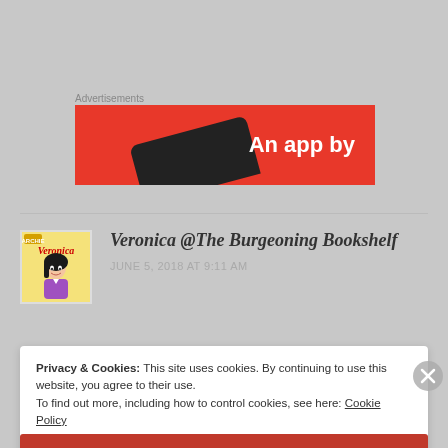Advertisements
[Figure (screenshot): Red advertisement banner with phone graphic and text 'An app by']
[Figure (photo): Veronica comic book cover avatar image]
Veronica @The Burgeoning Bookshelf
JUNE 5, 2018 AT 9:11 AM
Privacy & Cookies: This site uses cookies. By continuing to use this website, you agree to their use.
To find out more, including how to control cookies, see here: Cookie Policy
Close and accept